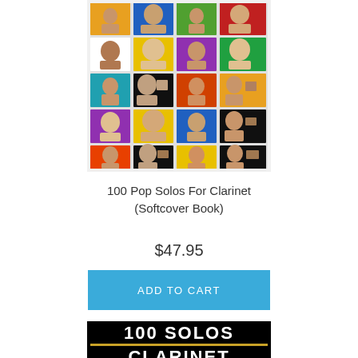[Figure (photo): Book cover of 100 Pop Solos for Clarinet showing a colorful grid of celebrity portrait photos on colored backgrounds]
100 Pop Solos For Clarinet
(Softcover Book)
$47.95
ADD TO CART
[Figure (logo): Black box logo reading '100 SOLOS CLARINET' in bold white text with a gold horizontal rule between the two lines]